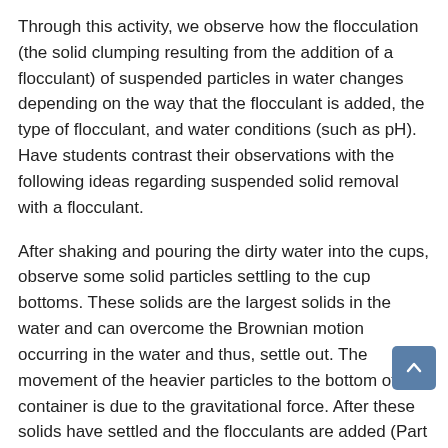Through this activity, we observe how the flocculation (the solid clumping resulting from the addition of a flocculant) of suspended particles in water changes depending on the way that the flocculant is added, the type of flocculant, and water conditions (such as pH). Have students contrast their observations with the following ideas regarding suspended solid removal with a flocculant.
After shaking and pouring the dirty water into the cups, observe some solid particles settling to the cup bottoms. These solids are the largest solids in the water and can overcome the Brownian motion occurring in the water and thus, settle out. The movement of the heavier particles to the bottom of the container is due to the gravitational force. After these solids have settled and the flocculants are added (Part 1), observe the following in each cup:
Cup 1: Control: no treatment (no flocculant)—After the settling of the heavier solids, nothing else occurs in this cup. This cup is included solely as a controlled...